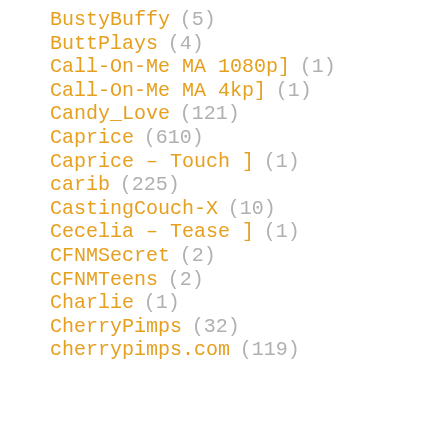BustyBuffy (5)
ButtPlays (4)
Call-On-Me MA 1080p] (1)
Call-On-Me MA 4kp] (1)
Candy_Love (121)
Caprice (610)
Caprice – Touch ] (1)
carib (225)
CastingCouch-X (10)
Cecelia – Tease ] (1)
CFNMSecret (2)
CFNMTeens (2)
Charlie (1)
CherryPimps (32)
cherrypimps.com (119)